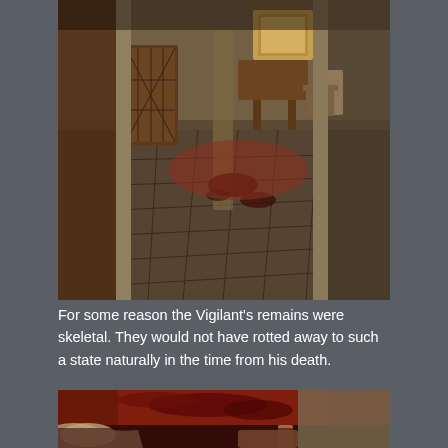[Figure (screenshot): Screenshot from a video game (appears to be Skyrim) showing a dark stone-floored interior room with wooden furniture, rugs, and blood stains on the floor. The room has stone pillars and walls with various chairs and tables. A painting hangs on the far wall.]
For some reason the Vigilant’s remains were skeletal. They would not have rotted away to such a state naturally in the time from his death.
[Figure (screenshot): Close-up screenshot from a video game showing a heavily blood-stained stone wall and floor area, with what appears to be skeletal or decomposed remains visible at the bottom of the frame.]